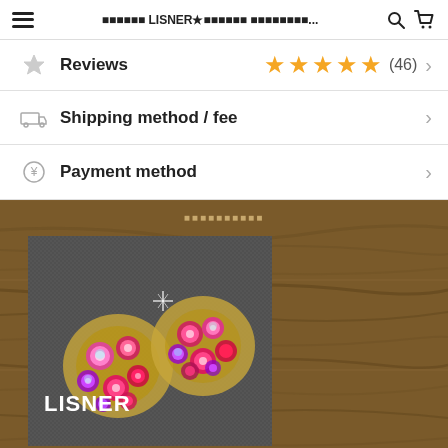☰  ■■■■■■ LISNER★■■■■■■ ■■■■■■■■...  🔍  🛒
Reviews  ★★★★★ (46) >
Shipping method / fee >
Payment method >
[Figure (photo): Product photo of LISNER rhinestone cluster earrings with gold tones and red/pink/purple aurora borealis stones, displayed on dark fabric background with wood grain background behind the white box.]
■■■■■■■■■■
¥3,500  tax included
✉ Restock notice